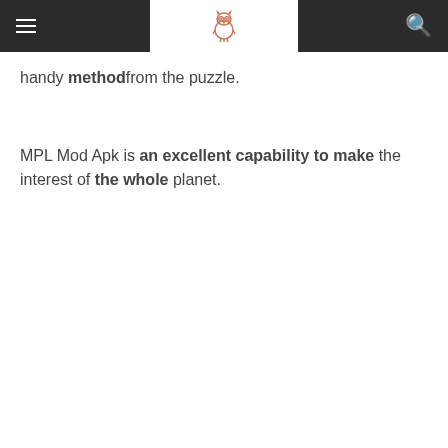Header navigation bar with hamburger menu, owl logo, and search icon
handy methodfrom the puzzle.
MPL Mod Apk is an excellent capability to make the interest of the whole planet.